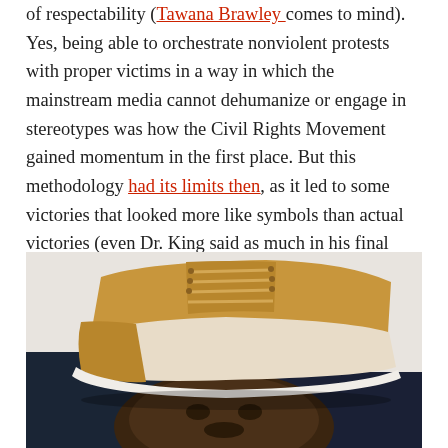of respectability (Tawana Brawley comes to mind). Yes, being able to orchestrate nonviolent protests with proper victims in a way in which the mainstream media cannot dehumanize or engage in stereotypes was how the Civil Rights Movement gained momentum in the first place. But this methodology had its limits then, as it led to some victories that looked more like symbols than actual victories (even Dr. King said as much in his final three years). It definitely has its limitations now.
[Figure (photo): A photo showing a large tan/brown boot/shoe pressing down on a person's head from above, with the person's dark face visible below the sole of the shoe.]